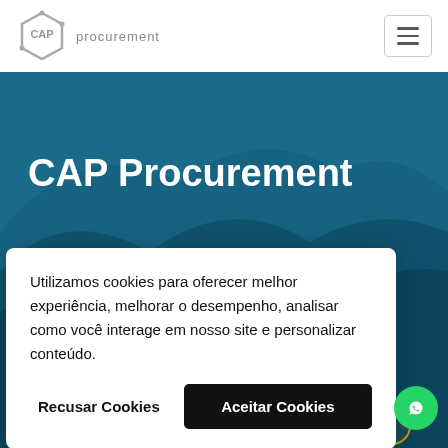[Figure (logo): CAP Procurement logo with hexagonal icon and text 'procurement']
CAP Procurement
Streamline workflows and communications to bring more spend under management and into
Utilizamos cookies para oferecer melhor experiência, melhorar o desempenho, analisar como você interage em nosso site e personalizar conteúdo.
Recusar Cookies
Aceitar Cookies